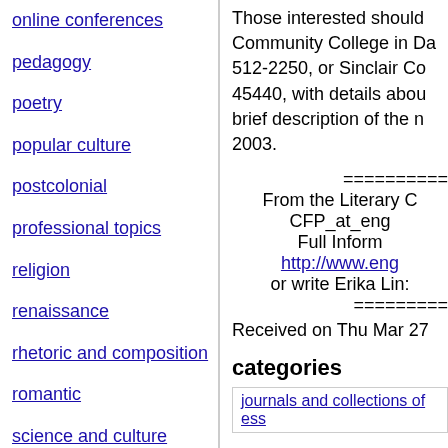online conferences
pedagogy
poetry
popular culture
postcolonial
professional topics
religion
renaissance
rhetoric and composition
romantic
science and culture
theatre
theory
translation studies
Those interested should contact Community College in Da 512-2250, or Sinclair Co 45440, with details abou brief description of the n 2003.
========== From the Literary C CFP_at_eng Full Inform http://www.eng or write Erika Lin: ==========
Received on Thu Mar 27
categories
journals and collections of ess